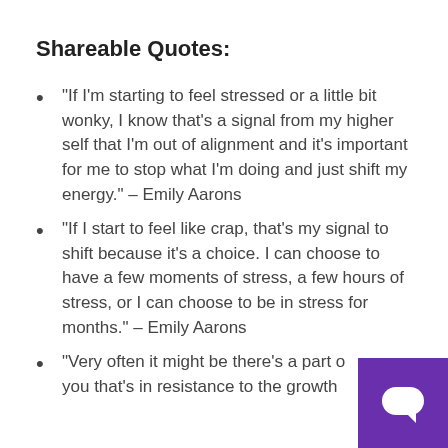Shareable Quotes:
“If I’m starting to feel stressed or a little bit wonky, I know that’s a signal from my higher self that I’m out of alignment and it’s important for me to stop what I’m doing and just shift my energy.” – Emily Aarons
“If I start to feel like crap, that’s my signal to shift because it’s a choice. I can choose to have a few moments of stress, a few hours of stress, or I can choose to be in stress for months.” – Emily Aarons
“Very often it might be there’s a part of you that’s in resistance to the growth